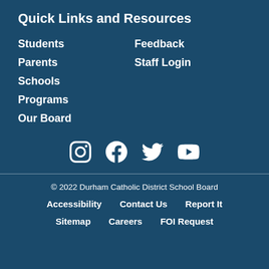Quick Links and Resources
Students
Feedback
Parents
Staff Login
Schools
Programs
Our Board
[Figure (other): Social media icons: Instagram, Facebook, Twitter, YouTube]
© 2022 Durham Catholic District School Board
Accessibility
Contact Us
Report It
Sitemap
Careers
FOI Request